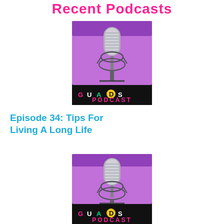Recent Podcasts
[Figure (photo): GUADS Podcast logo image showing a studio microphone against a purple background with the text 'G U A D S PODCAST' at the bottom in colorful letters]
Episode 34: Tips For Living A Long Life
[Figure (photo): GUADS Podcast logo image showing a studio microphone against a purple background with the text 'G U A D S PODCAST' at the bottom in colorful letters]